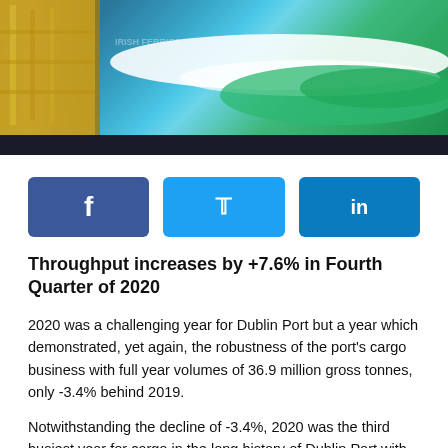[Figure (photo): Photograph of Dublin Port with a colourful shipping container mural featuring blue and green wave/leaf design, with yellow crane structure visible on the left.]
Throughput increases by +7.6% in Fourth Quarter of 2020
2020 was a challenging year for Dublin Port but a year which demonstrated, yet again, the robustness of the port's cargo business with full year volumes of 36.9 million gross tonnes, only -3.4% behind 2019.
Notwithstanding the decline of -3.4%, 2020 was the third busiest year for cargo in the long history of Dublin Port with higher volumes recorded in only 2018 (38.0 million gross tonnes) and 2019 (38.1 million gross tonnes).